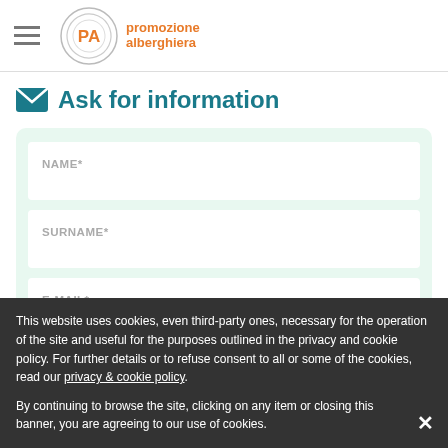Promozione alberghiera
Ask for information
[Figure (other): Contact form with fields NAME*, SURNAME*, E-MAIL* inside a light green rounded container]
This website uses cookies, even third-party ones, necessary for the operation of the site and useful for the purposes outlined in the privacy and cookie policy. For further details or to refuse consent to all or some of the cookies, read our privacy & cookie policy.

By continuing to browse the site, clicking on any item or closing this banner, you are agreeing to our use of cookies.